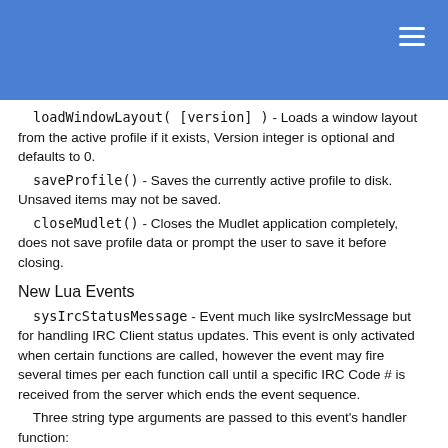loadWindowLayout( [version] ) - Loads a window layout from the active profile if it exists, Version integer is optional and defaults to 0.
saveProfile() - Saves the currently active profile to disk. Unsaved items may not be saved.
closeMudlet() - Closes the Mudlet application completely, does not save profile data or prompt the user to save it before closing.
New Lua Events
sysIrcStatusMessage - Event much like sysIrcMessage but for handling IRC Client status updates. This event is only activated when certain functions are called, however the event may fire several times per each function call until a specific IRC Code # is received from the server which ends the event sequence.
Three string type arguments are passed to this event's handler function:
-- Subject is usualy a Channel name or Nick name.
-- Data is usually the text sent back from the IRC Server, re-formatted in some cases.
-- Code is always a number, indicating the type of IRC message